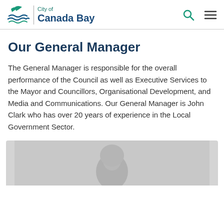City of Canada Bay
Our General Manager
The General Manager is responsible for the overall performance of the Council as well as Executive Services to the Mayor and Councillors, Organisational Development, and Media and Communications. Our General Manager is John Clark who has over 20 years of experience in the Local Government Sector.
[Figure (photo): Portrait photo of John Clark, General Manager of the City of Canada Bay, showing a bald man against a grey background]